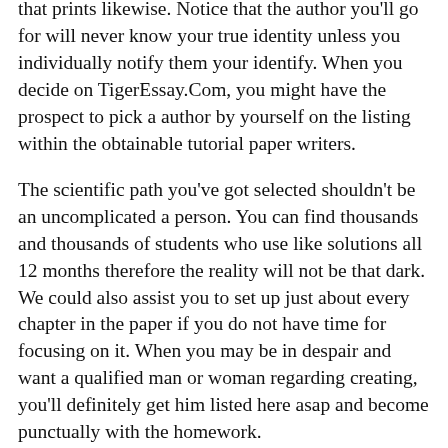that prints likewise. Notice that the author you'll go for will never know your true identity unless you individually notify them your identify. When you decide on TigerEssay.Com, you might have the prospect to pick a author by yourself on the listing within the obtainable tutorial paper writers.
The scientific path you've got selected shouldn't be an uncomplicated a person. You can find thousands and thousands of students who use like solutions all 12 months therefore the reality will not be that dark. We could also assist you to set up just about every chapter in the paper if you do not have time for focusing on it. When you may be in despair and want a qualified man or woman regarding creating, you'll definitely get him listed here asap and become punctually with the homework.
If you simply cannot focus and have noticeably to attempt aside from homework, it will probably be exactly what you'll need. The writer will swap the style of writing to the just one you want. It can be an enormous piece of job and it is usually organic and natural you